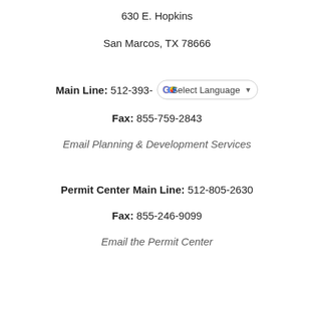630 E. Hopkins
San Marcos, TX 78666
Main Line: 512-393-
Fax: 855-759-2843
Email Planning & Development Services
Permit Center Main Line: 512-805-2630
Fax: 855-246-9099
Email the Permit Center